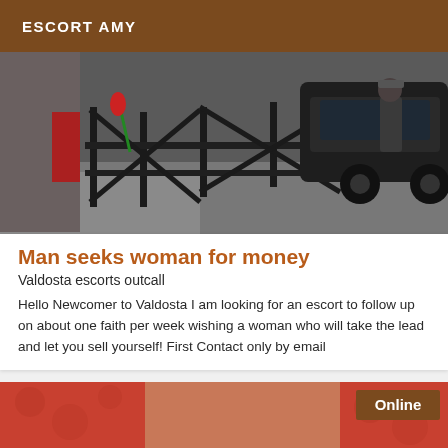ESCORT AMY
[Figure (photo): Street scene with metal railings, sidewalk, and a dark car. A person is visible near the car on the right side.]
Man seeks woman for money
Valdosta escorts outcall
Hello Newcomer to Valdosta I am looking for an escort to follow up on about one faith per week wishing a woman who will take the lead and let you sell yourself! First Contact only by email
[Figure (photo): Close-up photo of a person wearing red/coral lace fabric clothing. An 'Online' badge is shown in the upper right corner.]